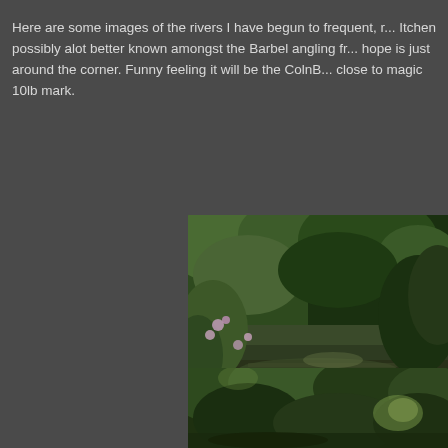Here are some images of the rivers I have begun to frequent, r... Itchen possibly alot better known amongst the Barbel angling fr... hope is just around the corner. Funny feeling it will be the ColnB... close to magic 10lb mark.
[Figure (photo): River scene with lush green vegetation, pink flowers (Himalayan balsam), and dark water. Typical chalk stream river view.]
Typical areas on R.Bourne
[Figure (photo): Dense green foliage along a river bank with dappled sunlight filtering through the leaves.]